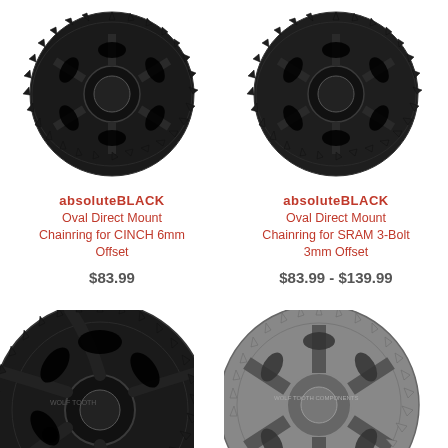[Figure (photo): absoluteBLACK Oval Direct Mount Chainring for CINCH 6mm Offset - black chainring product photo]
absoluteBLACK
Oval Direct Mount Chainring for CINCH 6mm Offset
$83.99
[Figure (photo): absoluteBLACK Oval Direct Mount Chainring for SRAM 3-Bolt 3mm Offset - black chainring product photo]
absoluteBLACK
Oval Direct Mount Chainring for SRAM 3-Bolt 3mm Offset
$83.99 - $139.99
[Figure (photo): Wolf Tooth chainring product photo - bottom left, partially cropped black chainring]
[Figure (photo): Wolf Tooth chainring product photo - bottom right, partially cropped silver/titanium chainring]